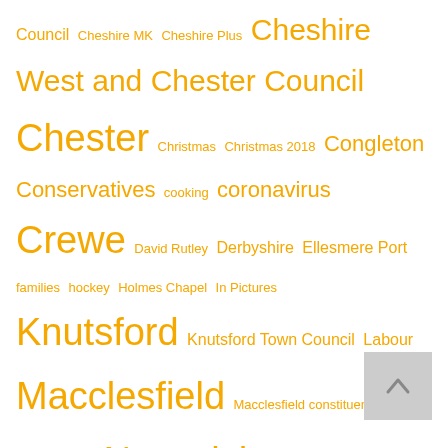Council Cheshire MK Cheshire Plus Cheshire West and Chester Council Chester Christmas Christmas 2018 Congleton Conservatives cooking coronavirus Crewe David Rutley Derbyshire Ellesmere Port families hockey Holmes Chapel In Pictures Knutsford Knutsford Town Council Labour Macclesfield Macclesfield constituency Middlewich Nantwich Nantwich Museum National NHS Northwich politics Poynton roads Sandbach Shropshire Staffordshire Swansway Motor Group Tarporley Tatton constituency Tatton Park video Wilmslow Winsford
So Bedfordshire
So Berkshire
So Buckinghamshire
So Cambridgeshire
So Cheshire